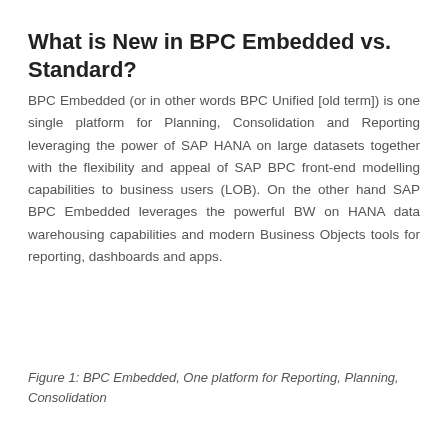What is New in BPC Embedded vs. Standard?
BPC Embedded (or in other words BPC Unified [old term]) is one single platform for Planning, Consolidation and Reporting leveraging the power of SAP HANA on large datasets together with the flexibility and appeal of SAP BPC front-end modelling capabilities to business users (LOB). On the other hand SAP BPC Embedded leverages the powerful BW on HANA data warehousing capabilities and modern Business Objects tools for reporting, dashboards and apps.
Figure 1: BPC Embedded, One platform for Reporting, Planning, Consolidation